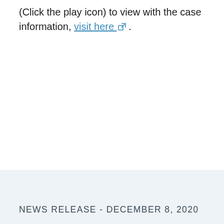(Click the play icon) to view with the case information, visit here ↗ .
NEWS RELEASE - DECEMBER 8, 2020